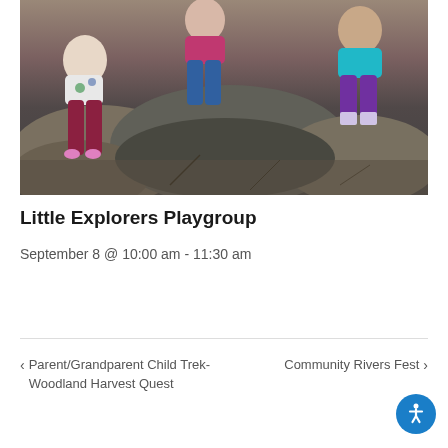[Figure (photo): Children sitting on large rocks outdoors in a natural setting, wearing colorful clothing]
Little Explorers Playgroup
September 8 @ 10:00 am - 11:30 am
< Parent/Grandparent Child Trek- Woodland Harvest Quest    Community Rivers Fest >